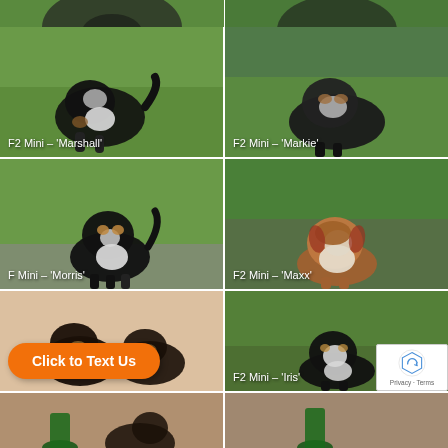[Figure (photo): Top strip - partially visible puppy photos row]
[Figure (photo): Top strip right - partially visible puppy photo]
[Figure (photo): Black and white Bernedoodle puppy running on grass. Label: F2 Mini – 'Marshall']
[Figure (photo): Dark curly-coated Bernedoodle puppy standing on grass. Label: F2 Mini – 'Markie']
[Figure (photo): Black tri-color Bernedoodle puppy standing on gravel path. Label: F Mini – 'Morris']
[Figure (photo): Brown and white Bernedoodle puppy sitting on patio. Label: F2 Mini – 'Maxx']
[Figure (photo): Dark Bernedoodle puppies on beige background with orange Click to Text Us button overlay]
[Figure (photo): Black and white Bernedoodle puppy on grass. Label: F2 Mini – 'Iris']
[Figure (photo): Bottom strip left - partially visible puppy photo]
[Figure (photo): Bottom strip right - partially visible puppy photo]